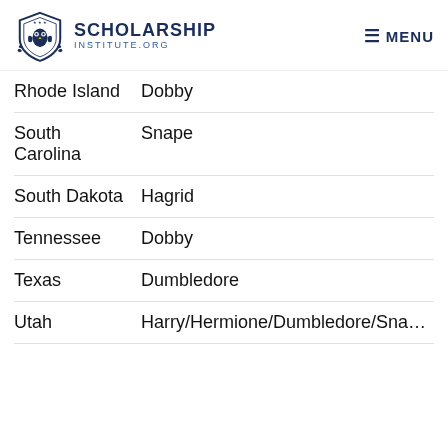SCHOLARSHIP INSTITUTE.ORG | MENU
| State | Character |
| --- | --- |
| Rhode Island | Dobby |
| South Carolina | Snape |
| South Dakota | Hagrid |
| Tennessee | Dobby |
| Texas | Dumbledore |
| Utah | Harry/Hermione/Dumbledore/Snape... |